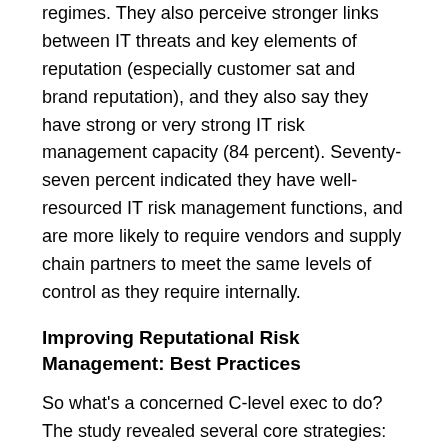regimes. They also perceive stronger links between IT threats and key elements of reputation (especially customer sat and brand reputation), and they also say they have strong or very strong IT risk management capacity (84 percent). Seventy-seven percent indicated they have well-resourced IT risk management functions, and are more likely to require vendors and supply chain partners to meet the same levels of control as they require internally.
Improving Reputational Risk Management: Best Practices
So what's a concerned C-level exec to do? The study revealed several core strategies:
Be proactive rather than reactive. That is, be prepared to invest in developing comprehensive